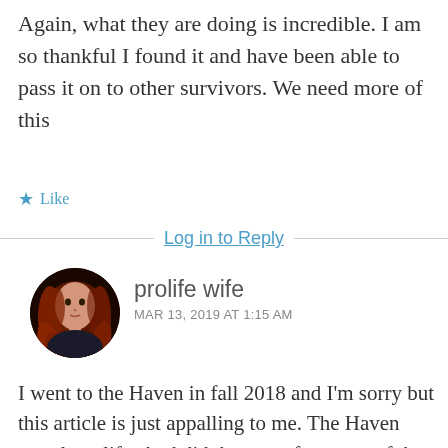Again, what they are doing is incredible. I am so thankful I found it and have been able to pass it on to other survivors. We need more of this
★ Like
Log in to Reply
prolife wife
MAR 13, 2019 AT 1:15 AM
[Figure (photo): Circular avatar photo of a woman with long red curly hair against a dark background]
I went to the Haven in fall 2018 and I'm sorry but this article is just appalling to me. The Haven saved my life. And did the same for many of the